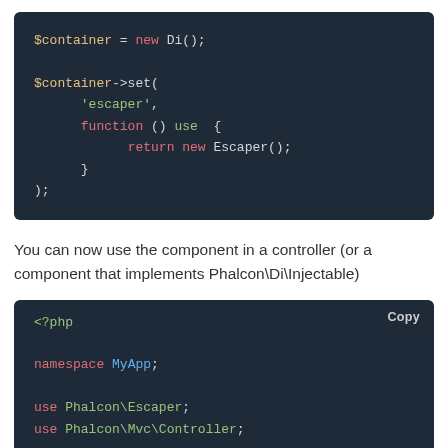[Figure (screenshot): Code block showing PHP: $container = new Di(); $container->set('escaper', function () use { return new Escaper(); }); with syntax highlighting]
You can now use the component in a controller (or a component that implements Phalcon\Di\Injectable)
[Figure (screenshot): Code block showing PHP: <?php namespace MyApp; use Phalcon\Escaper; use Phalcon\Mvc\Controller; /** with syntax highlighting and Copy button]